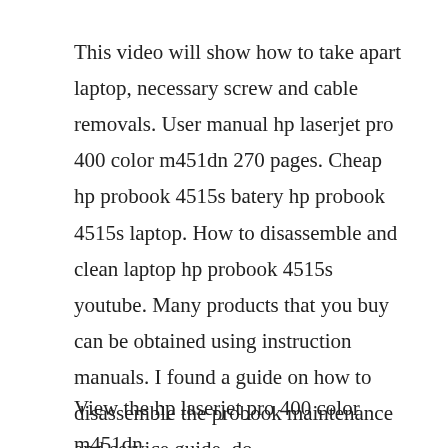This video will show how to take apart laptop, necessary screw and cable removals. User manual hp laserjet pro 400 color m451dn 270 pages. Cheap hp probook 4515s batery hp probook 4515s laptop. How to disassemble and clean laptop hp probook 4515s youtube. Many products that you buy can be obtained using instruction manuals. I found a guide on how to disassemble the probook maintenance and service guide, do.
View the hp laserjet pro 400 color m451dn